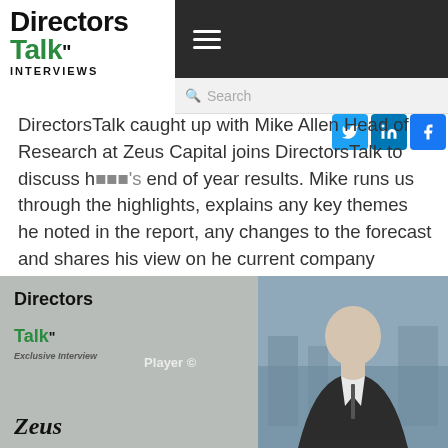Directors Talk INTERVIEWS
DirectorsTalk caught up with Mike Allen Head of Research at Zeus Capital joins DirectorsTalk to discuss his's end of year results. Mike runs us through the highlights, explains any key themes he noted in the report, any changes to the forecast and shares his view on he current company valuation.
[Figure (screenshot): Video thumbnail showing Directors Talk Exclusive Interview branding with a man in a suit, Zeus Capital logo, and a close (X) button in the top right corner. A Player overlay text is partially visible.]